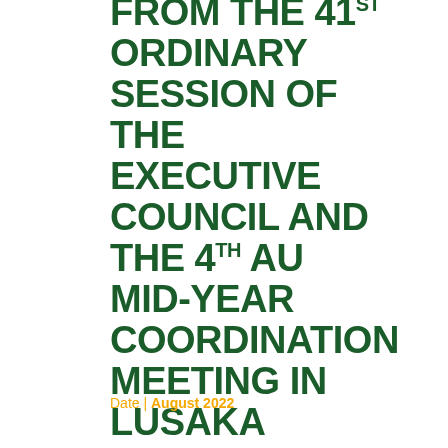FROM THE 41ST ORDINARY SESSION OF THE EXECUTIVE COUNCIL AND THE 4TH AU MID-YEAR COORDINATION MEETING IN LUSAKA
Date | August 2022